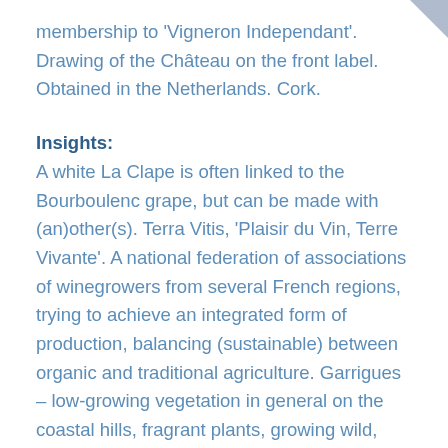membership to 'Vigneron Independant'. Drawing of the Château on the front label. Obtained in the Netherlands. Cork.
Insights:
A white La Clape is often linked to the Bourboulenc grape, but can be made with (an)other(s). Terra Vitis, 'Plaisir du Vin, Terre Vivante'. A national federation of associations of winegrowers from several French regions, trying to achieve an integrated form of production, balancing (sustainable) between organic and traditional agriculture. Garrigues – low-growing vegetation in general on the coastal hills, fragrant plants, growing wild, such as juniper, thyme, rosemary and lavender. WWW.eco-attitude-vin.com; Ensemble-